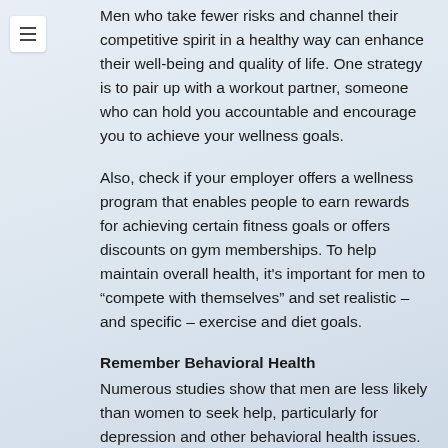Men who take fewer risks and channel their competitive spirit in a healthy way can enhance their well-being and quality of life. One strategy is to pair up with a workout partner, someone who can hold you accountable and encourage you to achieve your wellness goals.
Also, check if your employer offers a wellness program that enables people to earn rewards for achieving certain fitness goals or offers discounts on gym memberships. To help maintain overall health, it’s important for men to “compete with themselves” and set realistic – and specific – exercise and diet goals.
Remember Behavioral Health
Numerous studies show that men are less likely than women to seek help, particularly for depression and other behavioral health issues.